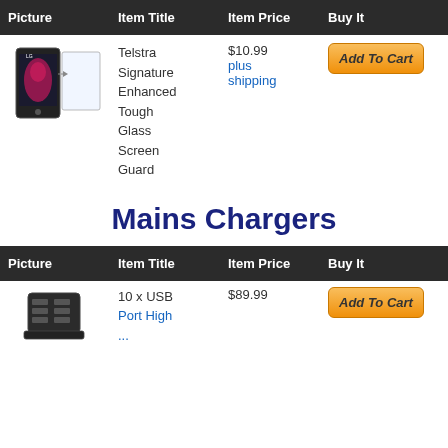| Picture | Item Title | Item Price | Buy It |
| --- | --- | --- | --- |
| [phone + glass image] | Telstra Signature Enhanced Tough Glass Screen Guard | $10.99 plus shipping | Add To Cart |
Mains Chargers
| Picture | Item Title | Item Price | Buy It |
| --- | --- | --- | --- |
| [charger image] | 10 x USB Port High... | $89.99 | Add To Cart |